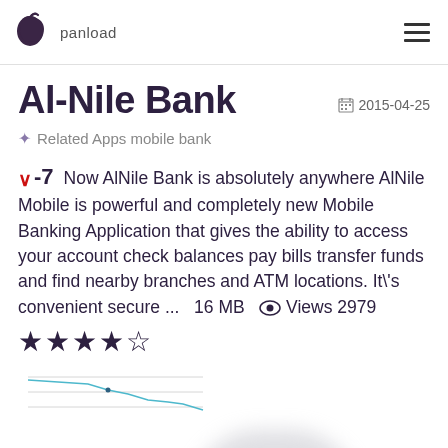panload
Al-Nile Bank
2015-04-25
Related Apps mobile bank
-7  Now AlNile Bank is absolutely anywhere AlNile Mobile is powerful and completely new Mobile Banking Application that gives the ability to access your account check balances pay bills transfer funds and find nearby branches and ATM locations. It\'s convenient secure ...   16 MB   Views 2979
[Figure (continuous-plot): Small line chart showing a downward trending line, light blue color, with horizontal grid lines]
[Figure (photo): Blurred gray shape at the bottom of the page, partially visible]